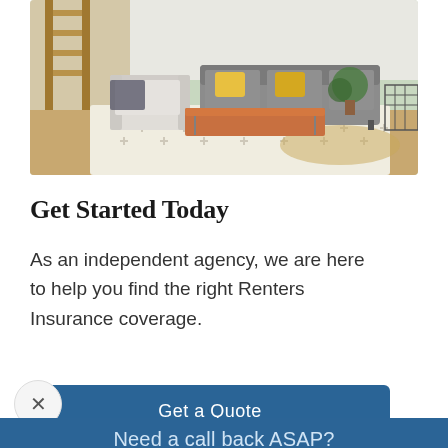[Figure (photo): Interior living room photo showing a grey sofa with yellow pillows, white patterned rug with cross motifs, wooden coffee table, armchair, and natural light from windows.]
Get Started Today
As an independent agency, we are here to help you find the right Renters Insurance coverage.
Get a Quote
Need a call back ASAP?
Call Me Back
Get a Quote